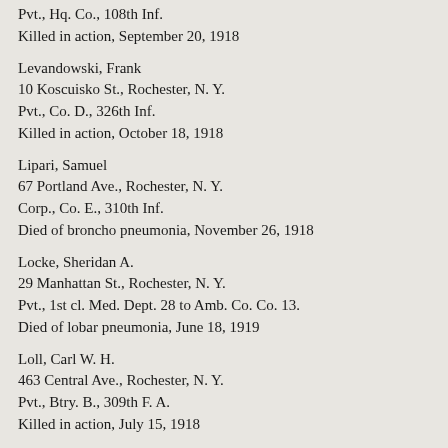Pvt., Hq. Co., 108th Inf.
Killed in action, September 20, 1918
Levandowski, Frank
10 Koscuisko St., Rochester, N. Y.
Pvt., Co. D., 326th Inf.
Killed in action, October 18, 1918
Lipari, Samuel
67 Portland Ave., Rochester, N. Y.
Corp., Co. E., 310th Inf.
Died of broncho pneumonia, November 26, 1918
Locke, Sheridan A.
29 Manhattan St., Rochester, N. Y.
Pvt., 1st cl. Med. Dept. 28 to Amb. Co. Co. 13.
Died of lobar pneumonia, June 18, 1919
Loll, Carl W. H.
463 Central Ave., Rochester, N. Y.
Pvt., Btry. B., 309th F. A.
Killed in action, July 15, 1918